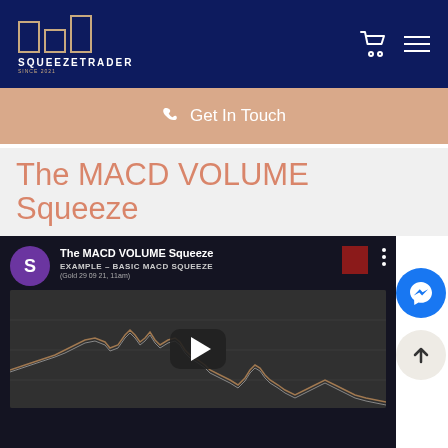SQUEEZETRADER — SINCE 2021
Get In Touch
The MACD VOLUME Squeeze
[Figure (screenshot): YouTube video embed showing 'The MACD VOLUME Squeeze' with a trading chart thumbnail featuring a line chart of price data, a play button overlay, and video metadata including 'EXAMPLE – BASIC MACD SQUEEZE (Gold 29 09 21, 11am)']